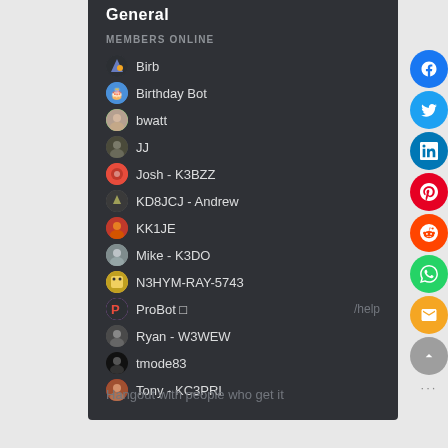General
MEMBERS ONLINE
Birb
Birthday Bot
bwatt
JJ
Josh - K3BZZ
KD8JCJ - Andrew
KK1JE
Mike - K3DO
N3HYM-RAY-5743
ProBot ⬜   /help
Ryan - W3WEW
tmode83
Tony - KC3PRI
Hangout with people who get it